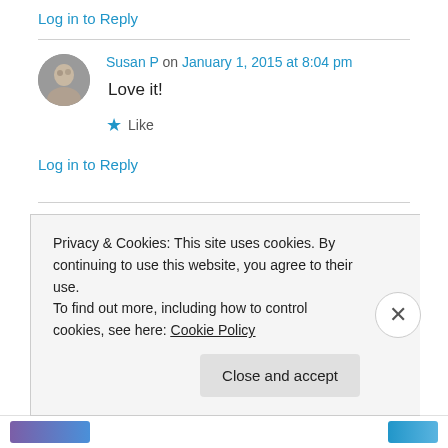Log in to Reply
Susan P on January 1, 2015 at 8:04 pm
Love it!
★ Like
Log in to Reply
Privacy & Cookies: This site uses cookies. By continuing to use this website, you agree to their use.
To find out more, including how to control cookies, see here: Cookie Policy
Close and accept